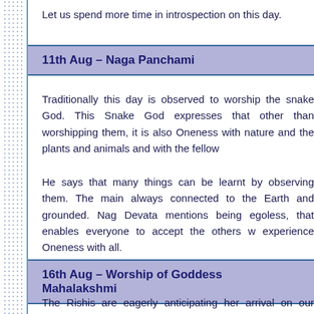Let us spend more time in introspection on this day.
11th Aug – Naga Panchami
Traditionally this day is observed to worship the snake God. This Snake God expresses that other than worshipping them, it is also Oneness with nature and the plants and animals and with the fellow
He says that many things can be learnt by observing them. The main always connected to the Earth and grounded. Nag Devata mentions being egoless, that enables everyone to accept the others w experience Oneness with all.
16th Aug – Worship of Goddess Mahalakshmi
The Rishis are eagerly anticipating her arrival on our Earth. She will on our Earth and all of us can easily connect to and experience her.
Devi Mahalakshmi wants to personally work towards educati